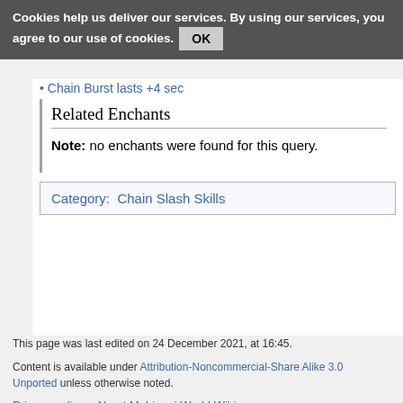Cookies help us deliver our services. By using our services, you agree to our use of cookies. OK
Chain Burst lasts +4 sec
Related Enchants
Note: no enchants were found for this query.
Category: Chain Slash Skills
This page was last edited on 24 December 2021, at 16:45.
Content is available under Attribution-Noncommercial-Share Alike 3.0 Unported unless otherwise noted.
Privacy policy   About Mabinogi World Wiki
Disclaimers
[Figure (logo): Creative Commons Attribution-Noncommercial-Share Alike license icon]
[Figure (logo): Powered By logo]